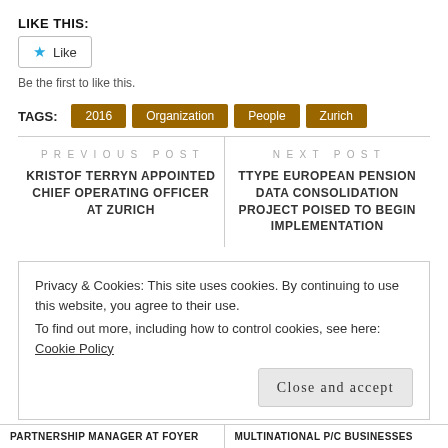LIKE THIS:
★ Like
Be the first to like this.
TAGS: 2016 Organization People Zurich
PREVIOUS POST
KRISTOF TERRYN APPOINTED CHIEF OPERATING OFFICER AT ZURICH
NEXT POST
TTYPE EUROPEAN PENSION DATA CONSOLIDATION PROJECT POISED TO BEGIN IMPLEMENTATION
Privacy & Cookies: This site uses cookies. By continuing to use this website, you agree to their use.
To find out more, including how to control cookies, see here: Cookie Policy
Close and accept
PARTNERSHIP MANAGER AT FOYER
MULTINATIONAL P/C BUSINESSES